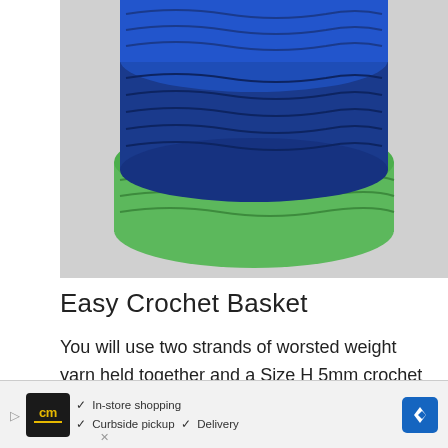[Figure (photo): A crocheted basket or toy made with blue and green yarn, photographed against a light gray background. The object shows stacked crochet rounds in dark blue and bright green colors.]
Easy Crochet Basket
You will use two strands of worsted weight yarn held together and a Size H 5mm crochet hook.
[Figure (screenshot): Advertisement for Furniture Max showing 'Shop In Stock, Get It Fast' on a blue background with close/play controls.]
[Figure (screenshot): Bottom advertisement bar showing Curbside Market logo with checkmarks for In-store shopping, Curbside pickup, and Delivery, with a blue navigation arrow icon.]